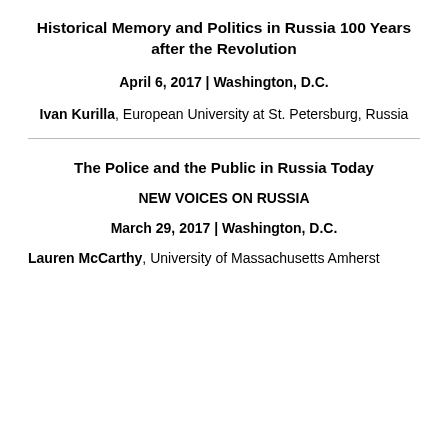Historical Memory and Politics in Russia 100 Years after the Revolution
April 6, 2017 | Washington, D.C.
Ivan Kurilla, European University at St. Petersburg, Russia
The Police and the Public in Russia Today
NEW VOICES ON RUSSIA
March 29, 2017 | Washington, D.C.
Lauren McCarthy, University of Massachusetts Amherst